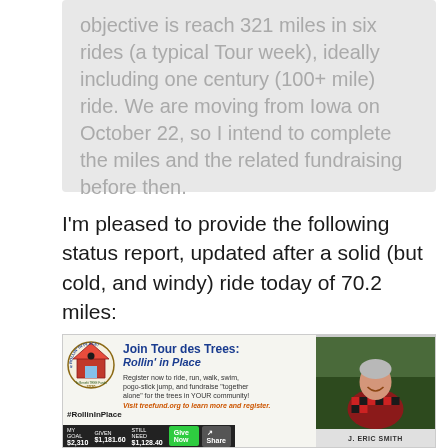objective is reach 321 miles in six rides (a typical Tour week), ideally including one century (100+ mile) ride. We are moving from Iowa on October 22, so I intend to complete the miles and the related fundraising before then.
I'm pleased to provide the following status report, updated after a solid (but cold, and windy) ride today of 70.2 miles:
[Figure (screenshot): Screenshot of the 'Join Tour des Trees: Rollin' in Place' fundraising banner. Shows the Rollin' in Place 2020 logo on the left, event description text in the center, and a photo of J. Eric Smith on the right. Bottom bar shows: MY GOAL $2,310, GIVEN $1,181.60, STILL NEED $1,128.40, with Give Now and Share buttons. Hashtag #RollinInPlace shown. Text: 'Register now to ride, run, walk, swim, pogo-stick jump, and fundraise "together alone" for the trees in YOUR community! Visit treefund.org to learn more and register.']